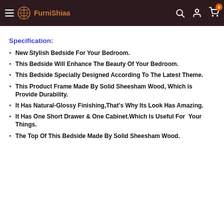FurniShiaa
Specification:
New Stylish Bedside For Your Bedroom.
This Bedside Will Enhance The Beauty Of Your Bedroom.
This Bedside Specially Designed According To The Latest Theme.
This Product Frame Made By Solid Sheesham Wood, Which is Provide Durability.
It Has Natural-Glossy Finishing,That's Why Its Look Has Amazing.
It Has One Short Drawer & One Cabinet.Which Is Useful For Your Things.
The Top Of This Bedside Made By Solid Sheesham Wood.